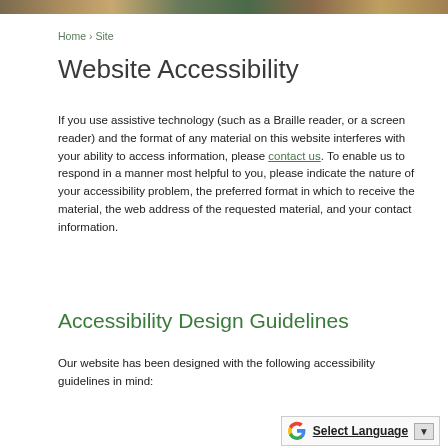[Figure (photo): Top strip showing a cropped photo banner of people and scenes]
Home › Site
Website Accessibility
If you use assistive technology (such as a Braille reader, or a screen reader) and the format of any material on this website interferes with your ability to access information, please contact us. To enable us to respond in a manner most helpful to you, please indicate the nature of your accessibility problem, the preferred format in which to receive the material, the web address of the requested material, and your contact information.
Accessibility Design Guidelines
Our website has been designed with the following accessibility guidelines in mind:
[Figure (other): Google Translate widget with G logo, Select Language text and dropdown arrow]